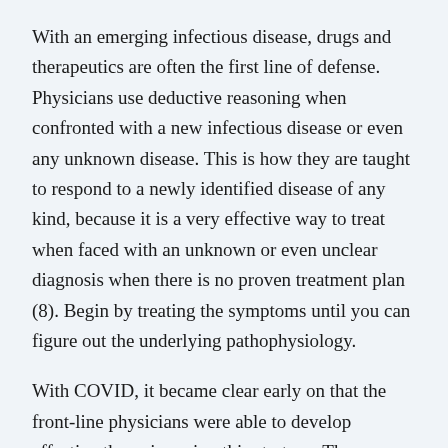With an emerging infectious disease, drugs and therapeutics are often the first line of defense. Physicians use deductive reasoning when confronted with a new infectious disease or even any unknown disease. This is how they are taught to respond to a newly identified disease of any kind, because it is a very effective way to treat when faced with an unknown or even unclear diagnosis when there is no proven treatment plan (8). Begin by treating the symptoms until you can figure out the underlying pathophysiology.
With COVID, it became clear early on that the front-line physicians were able to develop effective therapies using this strategy. There were many drugs, and many treatments (including prophylactic Vitamin D3) that worked. The mechanisms and adaptations used to treat...